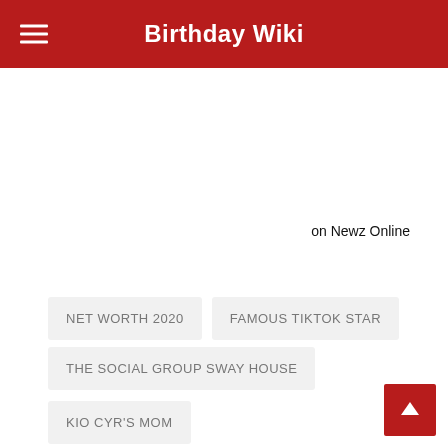Birthday Wiki
on Newz Online
NET WORTH 2020
FAMOUS TIKTOK STAR
THE SOCIAL GROUP SWAY HOUSE
KIO CYR'S MOM
SPLIT WITH HIS GIRLFRIEND OLIVIA PONTON